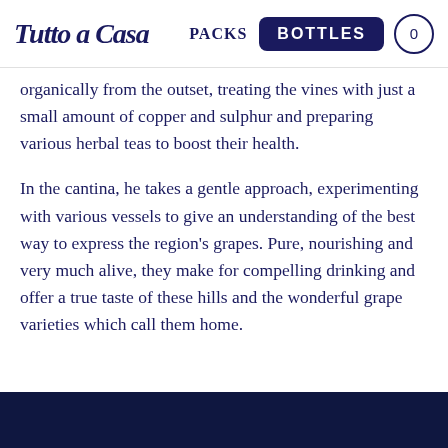Tutto a Casa  PACKS  BOTTLES  0
organically from the outset, treating the vines with just a small amount of copper and sulphur and preparing various herbal teas to boost their health.
In the cantina, he takes a gentle approach, experimenting with various vessels to give an understanding of the best way to express the region's grapes. Pure, nourishing and very much alive, they make for compelling drinking and offer a true taste of these hills and the wonderful grape varieties which call them home.